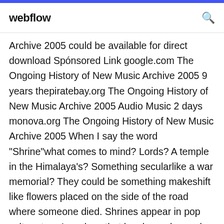webflow
Archive 2005 could be available for direct download Sponsored Link google.com The Ongoing History of New Music Archive 2005 9 years thepiratebay.org The Ongoing History of New Music Archive 2005 Audio Music 2 days monova.org The Ongoing History of New Music Archive 2005 When I say the word "Shrine"what comes to mind? Lords? A temple in the Himalaya's? Something secularlike a war memorial? They could be something makeshift like flowers placed on the side of the road where someone died. Shrines appear in pop culture too. Any place that has been deemed important because of its history or